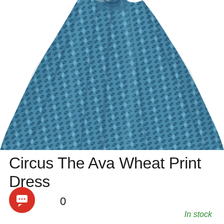[Figure (photo): A blue patterned dress (Circus The Ava Wheat Print Dress) with geometric/woven print in teal/navy blue, showing the skirt portion flared out, on a white background.]
Circus The Ava Wheat Print Dress
£0
In stock